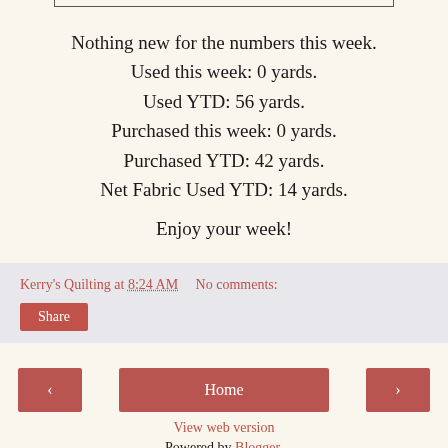Nothing new for the numbers this week.
Used this week: 0 yards.
Used YTD: 56 yards.
Purchased this week: 0 yards.
Purchased YTD: 42 yards.
Net Fabric Used YTD: 14 yards.
Enjoy your week!
Kerry's Quilting at 8:24 AM   No comments:
Share
‹
Home
›
View web version
Powered by Blogger.